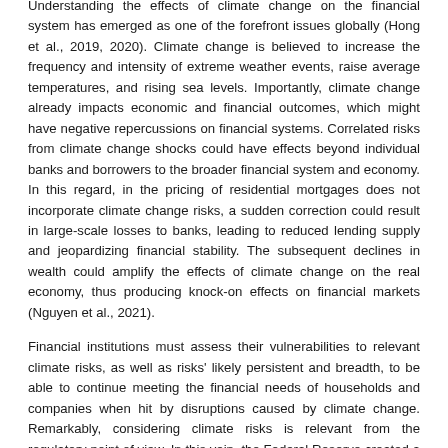Understanding the effects of climate change on the financial system has emerged as one of the forefront issues globally (Hong et al., 2019, 2020). Climate change is believed to increase the frequency and intensity of extreme weather events, raise average temperatures, and rising sea levels. Importantly, climate change already impacts economic and financial outcomes, which might have negative repercussions on financial systems. Correlated risks from climate change shocks could have effects beyond individual banks and borrowers to the broader financial system and economy. In this regard, in the pricing of residential mortgages does not incorporate climate change risks, a sudden correction could result in large-scale losses to banks, leading to reduced lending supply and jeopardizing financial stability. The subsequent declines in wealth could amplify the effects of climate change on the real economy, thus producing knock-on effects on financial markets (Nguyen et al., 2021).
Financial institutions must assess their vulnerabilities to relevant climate risks, as well as risks' likely persistent and breadth, to be able to continue meeting the financial needs of households and companies when hit by disruptions caused by climate change. Remarkably, considering climate risks is relevant from the regulatory point of view. In this vein, the Federal Reserve created a dedicated supervision climate committee to observe the risks of